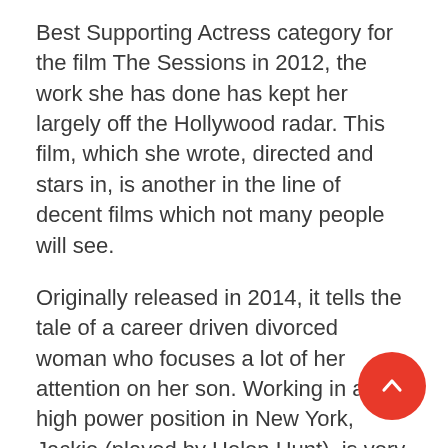Best Supporting Actress category for the film The Sessions in 2012, the work she has done has kept her largely off the Hollywood radar. This film, which she wrote, directed and stars in, is another in the line of decent films which not many people will see.
Originally released in 2014, it tells the tale of a career driven divorced woman who focuses a lot of her attention on her son. Working in a high power position in New York, Jackie (played by Helen Hunt), is very disappointed when her son (played by Brenton Thwaites) tells her he is moving to California, dropping out of school to live with his father and just surf. Unacceptable in Jackie’s books.
So she travels across the country to California to keep and eye on him. Can you say helicopter mother? While trying to remain in the shadows as she basically spies on her adult son, she finds herself